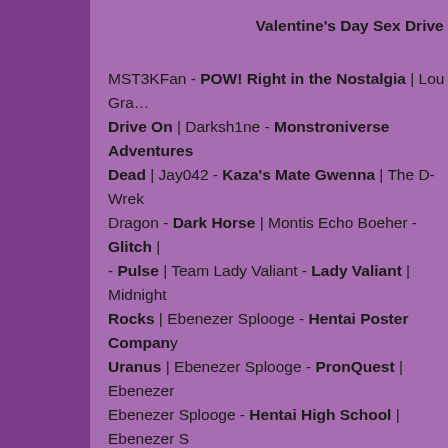Valentine's Day Sex Drive
MST3KFan - POW! Right in the Nostalgia | Lou Gra... Drive On | Darksh1ne - Monstroniverse Adventures Dead | Jay042 - Kaza's Mate Gwenna | The D-Wrek Dragon - Dark Horse | Montis Echo Boeher - Glitch | - Pulse | Team Lady Valiant - Lady Valiant | Midnight Rocks | Ebenezer Splooge - Hentai Poster Company Uranus | Ebenezer Splooge - PronQuest | Ebenezer Ebenezer Splooge - Hentai High School | Ebenezer S Stilldown - Ariane Eldar's Personal Place | Stilldown Tongue | Barry Linck - Phineus: Magician for Hire | Letts - Epic Fail | Sheryl Schopfer - Sharpclaw | Sher Devin - Monster Soup | J.E. Draft - The Challenges Bloomin' Faeries | Peter Anckorn - By The Book | Th Nerveaux's Secret Case Files | Microraptor - Cryptic Caley Tibbittz Collopy - SwordCat Knights | Andrew Bata Neart | Mark Egan - Back Office | Alli Perry - My Yesterday Bound | Dizzaster Juice - WhiteOut | Dizz Crease | Zach Vanzile - West Tree Academy of Hero The Grimoires of Bearalzebub | MonicaNG - MoonS